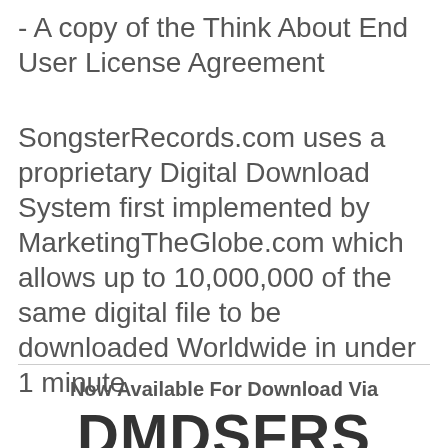- A copy of the Think About End User License Agreement
SongsterRecords.com uses a proprietary Digital Download System first implemented by MarketingTheGlobe.com which allows up to 10,000,000 of the same digital file to be downloaded Worldwide in under 1 minute
Now Available For Download Via
DMDSFRS